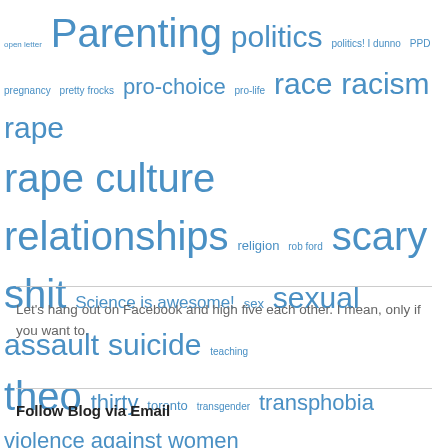[Figure (infographic): Tag cloud of blog topics in varying blue font sizes: open letter, Parenting, politics, politics! I dunno, PPD, pregnancy, pretty frocks, pro-choice, pro-life, race, racism, rape, rape culture, relationships, religion, rob ford, scary shit, Science is awesome!, sex, sexual assault, suicide, teaching, theo, thirty, toronto, transgender, transphobia, violence against women, white privilege, women, writing, yoga]
Let's hang out on Facebook and high five each other. I mean, only if you want to.
Follow Blog via Email